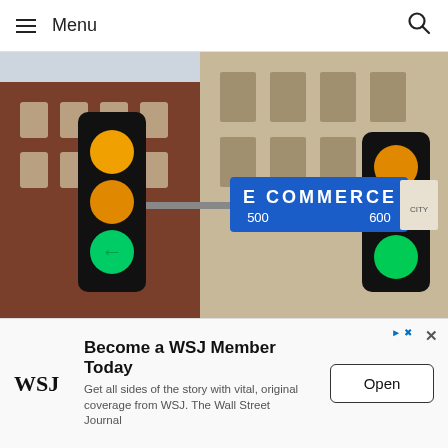Menu
[Figure (photo): Street photo showing an E Commerce street sign (500-600 block) in blue, flanked by two traffic lights showing yellow and green signals, with brick buildings in the background.]
eBay Review: The Reasons People Still Love eBay
Become a WSJ Member Today
Get all sides of the story with vital, original coverage from WSJ. The Wall Street Journal